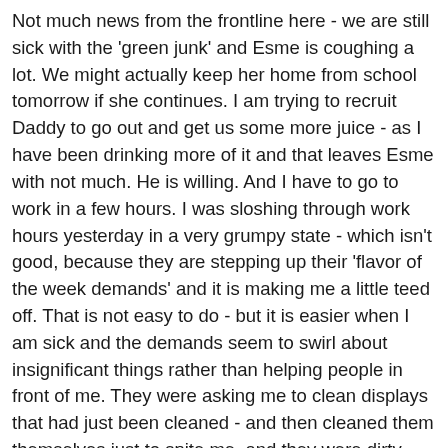Not much news from the frontline here - we are still sick with the 'green junk' and Esme is coughing a lot. We might actually keep her home from school tomorrow if she continues. I am trying to recruit Daddy to go out and get us some more juice - as I have been drinking more of it and that leaves Esme with not much. He is willing. And I have to go to work in a few hours. I was sloshing through work hours yesterday in a very grumpy state - which isn't good, because they are stepping up their 'flavor of the week demands' and it is making me a little teed off. That is not easy to do - but it is easier when I am sick and the demands seem to swirl about insignificant things rather than helping people in front of me. They were asking me to clean displays that had just been cleaned - and then cleaned them themselves just to spite me, and they were dirty again in a few hours. Why? Because those displays are under the freaking air return on the furnace. But, there is no reasoning with them. They are just passing the buck and quoting company policy about 'being clean and presentable for customers'....grr.. About 2 percent of customers are going to think anything at all about some dust in a sink bowl of a display - and even then, the situation disappears in the face of the person who actually needs a